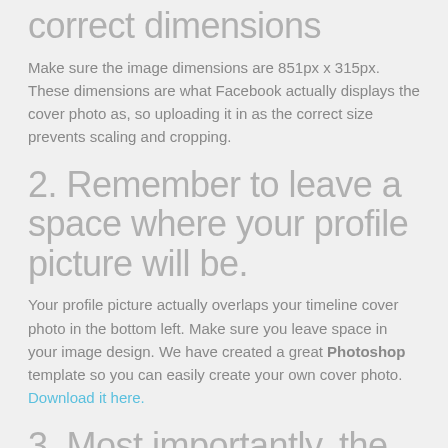1. Upload your image with the correct dimensions
Make sure the image dimensions are 851px x 315px. These dimensions are what Facebook actually displays the cover photo as, so uploading it in as the correct size prevents scaling and cropping.
2. Remember to leave a space where your profile picture will be.
Your profile picture actually overlaps your timeline cover photo in the bottom left. Make sure you leave space in your image design. We have created a great Photoshop template so you can easily create your own cover photo. Download it here.
3. Most importantly, the image size.